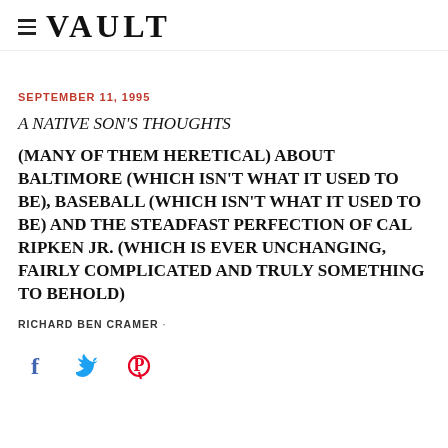≡ VAULT
SEPTEMBER 11, 1995
A NATIVE SON'S THOUGHTS
(MANY OF THEM HERETICAL) ABOUT BALTIMORE (WHICH ISN'T WHAT IT USED TO BE), BASEBALL (WHICH ISN'T WHAT IT USED TO BE) AND THE STEADFAST PERFECTION OF CAL RIPKEN JR. (WHICH IS EVER UNCHANGING, FAIRLY COMPLICATED AND TRULY SOMETHING TO BEHOLD)
RICHARD BEN CRAMER ·
[Figure (other): Social media share icons: Facebook, Twitter, Pinterest]